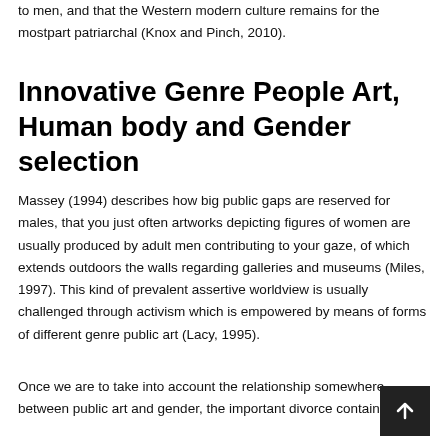to men, and that the Western modern culture remains for the mostpart patriarchal (Knox and Pinch, 2010).
Innovative Genre People Art, Human body and Gender selection
Massey (1994) describes how big public gaps are reserved for males, that you just often artworks depicting figures of women are usually produced by adult men contributing to your gaze, of which extends outdoors the walls regarding galleries and museums (Miles, 1997). This kind of prevalent assertive worldview is usually challenged through activism which is empowered by means of forms of different genre public art (Lacy, 1995).
Once we are to take into account the relationship somewhere between public art and gender, the important divorce containing